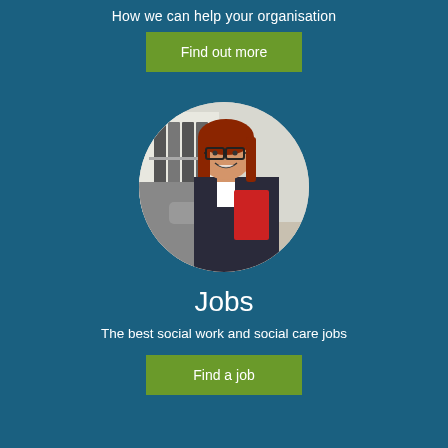How we can help your organisation
[Figure (illustration): Green button labeled 'Find out more']
[Figure (photo): Circular photo of a smiling young woman with red hair and glasses in a business suit, holding a red folder and shaking hands with someone]
Jobs
The best social work and social care jobs
[Figure (illustration): Green button labeled 'Find a job']